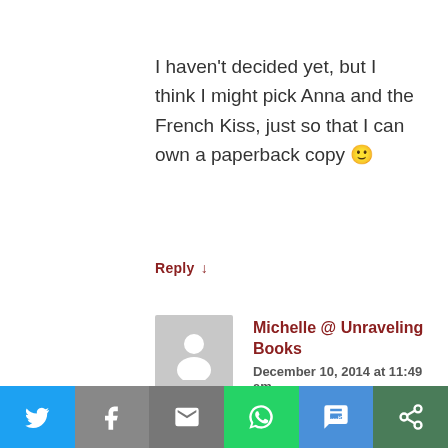I haven't decided yet, but I think I might pick Anna and the French Kiss, just so that I can own a paperback copy 🙂
Reply ↓
[Figure (illustration): Default avatar/placeholder image — grey square with white person silhouette]
Michelle @ Unraveling Books
December 10, 2014 at 11:49 am
I would pick Dangerous Girls!! And
[Figure (infographic): Social sharing bar with icons: Twitter (blue), Facebook (grey), Email (grey), WhatsApp (green), SMS (blue), Other (green)]